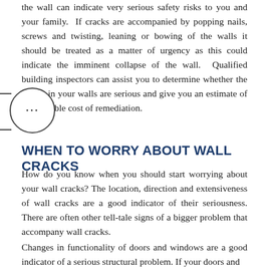the wall can indicate very serious safety risks to you and your family.  If cracks are accompanied by popping nails, screws and twisting, leaning or bowing of the walls it should be treated as a matter of urgency as this could indicate the imminent collapse of the wall.  Qualified building inspectors can assist you to determine whether the cracks in your walls are serious and give you an estimate of the possible cost of remediation.
WHEN TO WORRY ABOUT WALL CRACKS
How do you know when you should start worrying about your wall cracks? The location, direction and extensiveness of wall cracks are a good indicator of their seriousness. There are often other tell-tale signs of a bigger problem that accompany wall cracks.
Changes in functionality of doors and windows are a good indicator of a serious structural problem. If your doors and